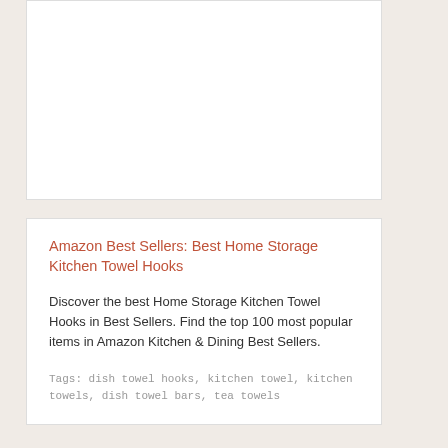[Figure (other): White card placeholder area with border, no visible content]
Amazon Best Sellers: Best Home Storage Kitchen Towel Hooks
Discover the best Home Storage Kitchen Towel Hooks in Best Sellers. Find the top 100 most popular items in Amazon Kitchen & Dining Best Sellers.
Tags: dish towel hooks, kitchen towel, kitchen towels, dish towel bars, tea towels